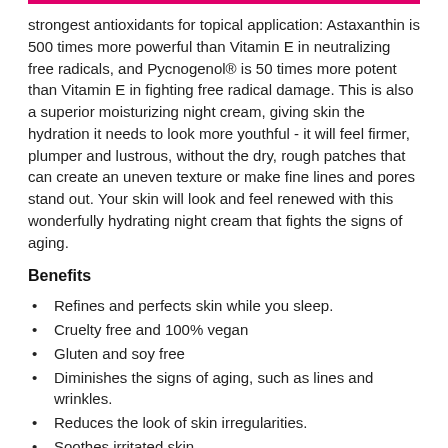strongest antioxidants for topical application: Astaxanthin is 500 times more powerful than Vitamin E in neutralizing free radicals, and Pycnogenol® is 50 times more potent than Vitamin E in fighting free radical damage. This is also a superior moisturizing night cream, giving skin the hydration it needs to look more youthful - it will feel firmer, plumper and lustrous, without the dry, rough patches that can create an uneven texture or make fine lines and pores stand out. Your skin will look and feel renewed with this wonderfully hydrating night cream that fights the signs of aging.
Benefits
Refines and perfects skin while you sleep.
Cruelty free and 100% vegan
Gluten and soy free
Diminishes the signs of aging, such as lines and wrinkles.
Reduces the look of skin irregularities.
Soothes irritated skin.
Provides visible recovery from environmental stresses.
Promotes a smoother, more youthful complexion.